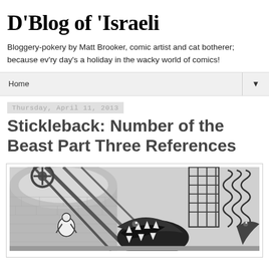D'Blog of 'Israeli
Bloggery-pokery by Matt Brooker, comic artist and cat botherer; because ev'ry day's a holiday in the wacky world of comics!
Home ▼
Thursday, April 11, 2013
Stickleback: Number of the Beast Part Three References
[Figure (illustration): Black and white comic art illustration showing a mechanical/industrial scene with brick arches, a monster or creature with an open mouth showing teeth, and a figure in white, rendered in detailed ink artwork]